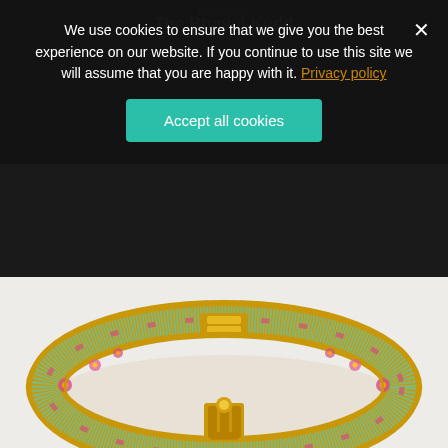Bangles
The Bhavui Kudd
We use cookies to ensure that we give you the best experience on our website. If you continue to use this site we will assume that you are happy with it. Privacy policy
[Figure (photo): Gold bangle bracelet with green and pink floral enamel (meenakari) work and gold clasp mechanism, photographed on white background]